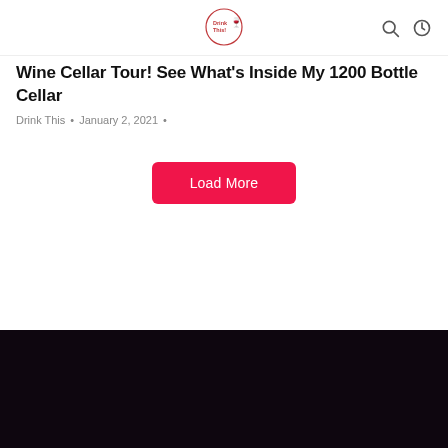Drink This [logo]
Wine Cellar Tour! See What's Inside My 1200 Bottle Cellar
Drink This • January 2, 2021 •
Load More
[Figure (other): Dark footer background section]